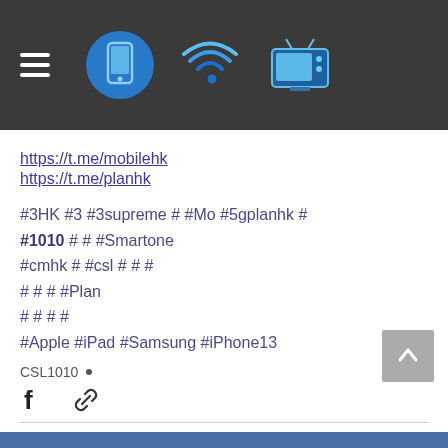[Figure (screenshot): Dark header bar with hamburger menu icon, circular smartphone icon in blue, WiFi icon in blue, and retro TV icon in blue/cyan]
https://t.me/mobilehk
https://t.me/planhk
#3HK #3 #3supreme # #Mo #5gplanhk #
#1010 # # #Smartone
#cmhk # #csl # # #
# # # #Plan
# # # #
#Apple #iPad #Samsung #iPhone13
CSL1010 •
611  2 ♥